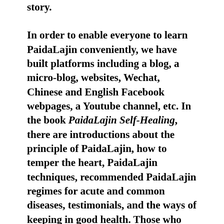story.
In order to enable everyone to learn PaidaLajin conveniently, we have built platforms including a blog, a micro-blog, websites, Wechat, Chinese and English Facebook webpages, a Youtube channel, etc. In the book PaidaLajin Self-Healing, there are introductions about the principle of PaidaLajin, how to temper the heart, PaidaLajin techniques, recommended PaidaLajin regimes for acute and common diseases, testimonials, and the ways of keeping in good health. Those who are eager to learn PaidaLajin and put it into practice have already self-healed lots of diseases; however, those who take a wait-and-see attitude and